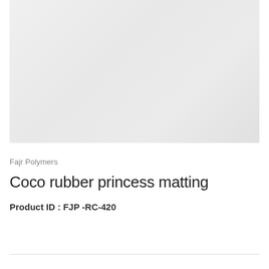[Figure (photo): Product image placeholder — light gray gradient rectangle representing a product photo area]
Fajr Polymers
Coco rubber princess matting
Product ID : FJP -RC-420